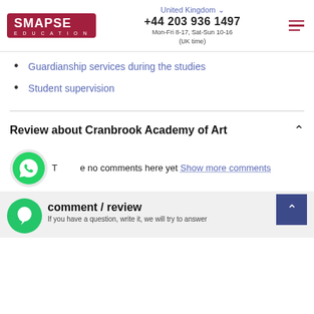SMAPSE EDUCATION | United Kingdom | +44 203 936 1497 | Mon-Fri 8-17, Sat-Sun 10-16 (UK time)
Guardianship services during the studies
Student supervision
Review about Cranbrook Academy of Art
There are no comments here yet Show more comments
comment / review
If you have a question, write it, we will try to answer